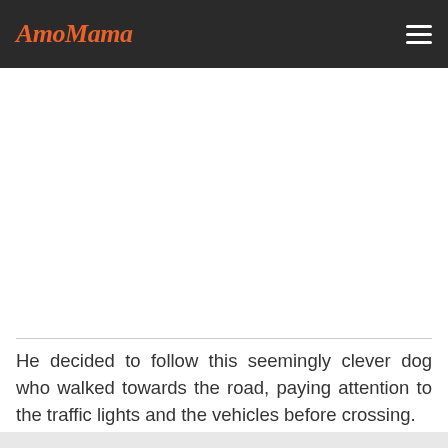AmoMama
He decided to follow this seemingly clever dog who walked towards the road, paying attention to the traffic lights and the vehicles before crossing.